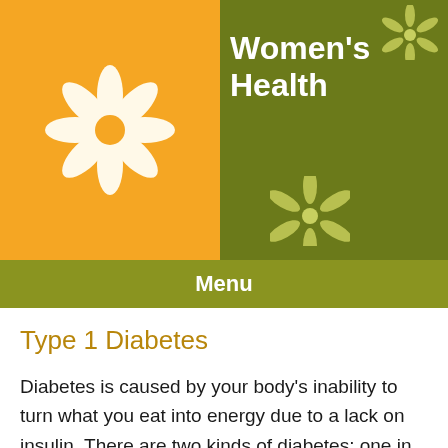Women's Health
Menu
Type 1 Diabetes
Diabetes is caused by your body's inability to turn what you eat into energy due to a lack on insulin. There are two kinds of diabetes: one in which the body is not able to produce any insulin at all (type 1), and the other in which the body's sensitivity to insulin decreases (type 2). Currently